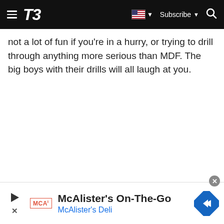T3 — navigation bar with hamburger menu, T3 logo, flag/subscribe/search controls
not a lot of fun if you're in a hurry, or trying to drill through anything more serious than MDF. The big boys with their drills will all laugh at you.
[Figure (other): McAlister's Deli advertisement banner: 'McAlister's On-The-Go / McAlister's Deli' with MCA logo and navigation arrow icon]